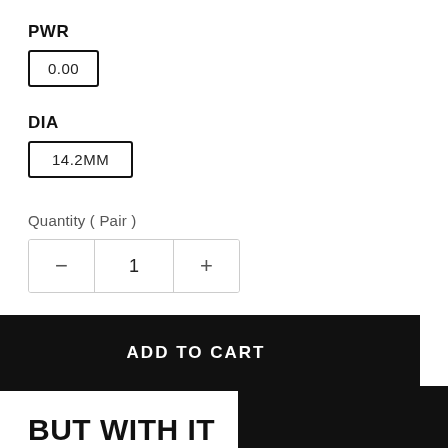PWR
0.00
DIA
14.2MM
Quantity ( Pair )
− 1 +
ADD TO CART
BUT WITH IT
[Figure (other): Black image block in bottom right corner]